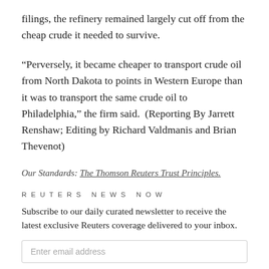filings, the refinery remained largely cut off from the cheap crude it needed to survive.
“Perversely, it became cheaper to transport crude oil from North Dakota to points in Western Europe than it was to transport the same crude oil to Philadelphia,” the firm said. (Reporting By Jarrett Renshaw; Editing by Richard Valdmanis and Brian Thevenot)
Our Standards: The Thomson Reuters Trust Principles.
REUTERS NEWS NOW
Subscribe to our daily curated newsletter to receive the latest exclusive Reuters coverage delivered to your inbox.
Enter email address